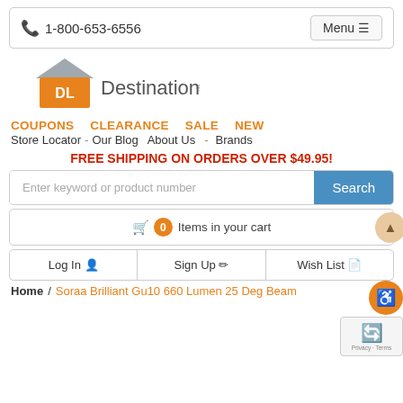📞 1-800-653-6556   Menu ☰
[Figure (logo): Destination Lighting logo with orange house/DL icon and gray text]
COUPONS   CLEARANCE   SALE   NEW
Store Locator - Our Blog   About Us - Brands
FREE SHIPPING ON ORDERS OVER $49.95!
Enter keyword or product number   Search
🛒 0 Items in your cart
Log In 👤   Sign Up ✏   Wish List 📄
Home / Soraa Brilliant Gu10 660 Lumen 25 Deg Beam